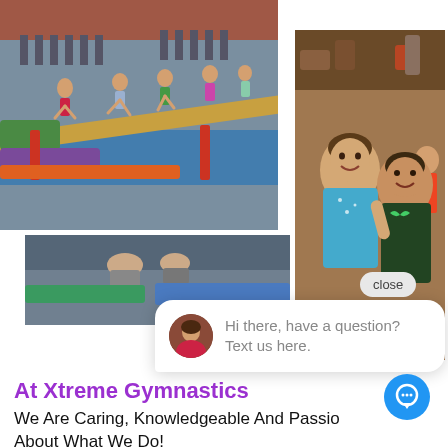[Figure (photo): Children practicing gymnastics on a balance beam in a gymnasium]
[Figure (photo): Two smiling girls in gymnastics leotards posing in a gymnasium]
[Figure (photo): Partial view of a gymnastics competition or practice area]
close
[Figure (other): Chat bubble with avatar: Hi there, have a question? Text us here.]
At Xtreme Gymnastics
We Are Caring, Knowledgeable And Passionate About What We Do!